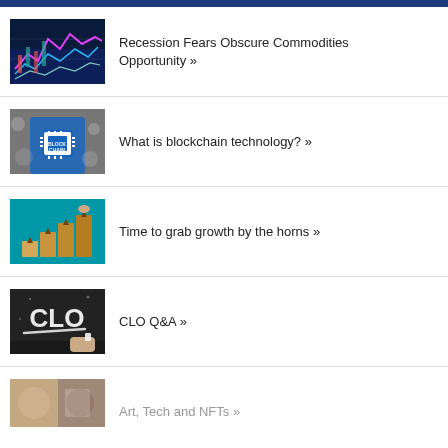[Figure (illustration): Blue header bar at top of page]
Recession Fears Obscure Commodities Opportunity »
What is blockchain technology? »
Time to grab growth by the horns »
CLO Q&A »
Art, Tech and NFTs »